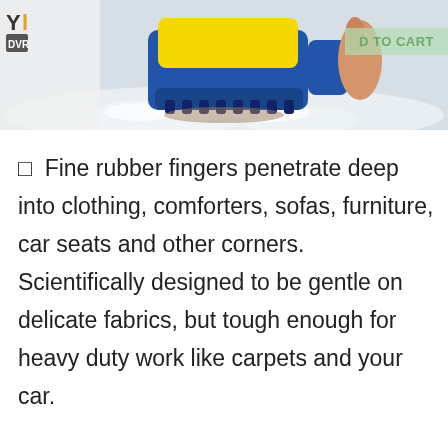[Figure (photo): A blue and yellow lint roller or fabric cleaning brush being used on a wet or foamy surface, with a hand visible holding it.]
ADD TO CART
Fine rubber fingers penetrate deep into clothing, comforters, sofas, furniture, car seats and other corners. Scientifically designed to be gentle on delicate fabrics, but tough enough for heavy duty work like carpets and your car.